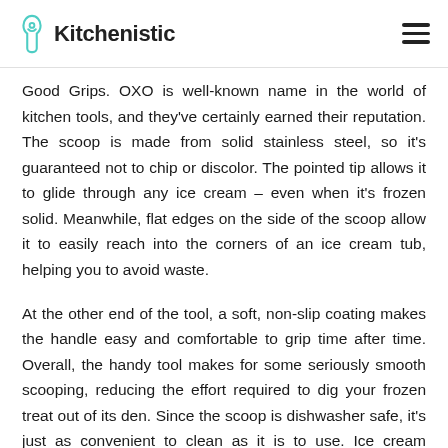Kitchenistic
Good Grips. OXO is well-known name in the world of kitchen tools, and they've certainly earned their reputation. The scoop is made from solid stainless steel, so it's guaranteed not to chip or discolor. The pointed tip allows it to glide through any ice cream – even when it's frozen solid. Meanwhile, flat edges on the side of the scoop allow it to easily reach into the corners of an ice cream tub, helping you to avoid waste.
At the other end of the tool, a soft, non-slip coating makes the handle easy and comfortable to grip time after time. Overall, the handy tool makes for some seriously smooth scooping, reducing the effort required to dig your frozen treat out of its den. Since the scoop is dishwasher safe, it's just as convenient to clean as it is to use. Ice cream enthusiasts across the board found themselves impressed with just how easily this little tool slid through everything from frozen